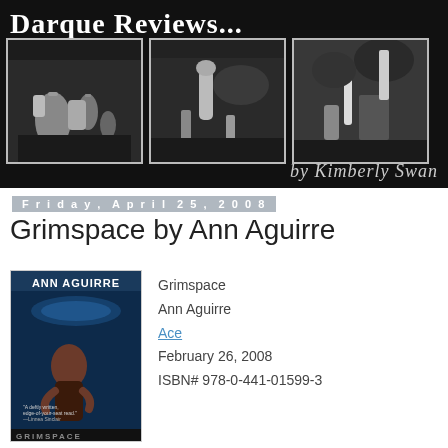[Figure (photo): Darque Reviews banner header with black background, three grayscale cemetery photos side by side, bold white title 'Darque Reviews...' and cursive 'by Kimberly Swan' byline]
Friday, April 25, 2008
Grimspace by Ann Aguirre
[Figure (photo): Book cover for Grimspace by Ann Aguirre, showing a dark sci-fi scene with a woman figure]
Grimspace
Ann Aguirre
Ace
February 26, 2008
ISBN# 978-0-441-01599-3